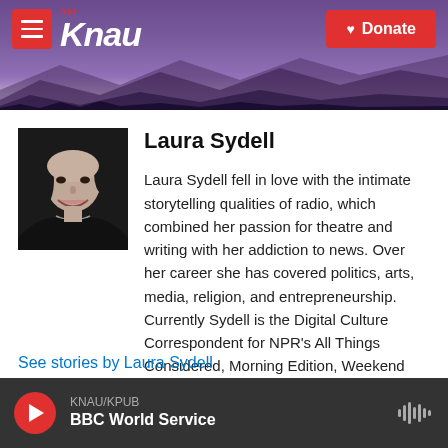KNAU NPR – Donate
[Figure (photo): Black and white headshot photo of Laura Sydell, a woman with dark hair, smiling]
Laura Sydell
Laura Sydell fell in love with the intimate storytelling qualities of radio, which combined her passion for theatre and writing with her addiction to news. Over her career she has covered politics, arts, media, religion, and entrepreneurship. Currently Sydell is the Digital Culture Correspondent for NPR's All Things Considered, Morning Edition, Weekend Edition, and NPR.org.
See stories by Laura Sydell
KNAU/KPUB BBC World Service